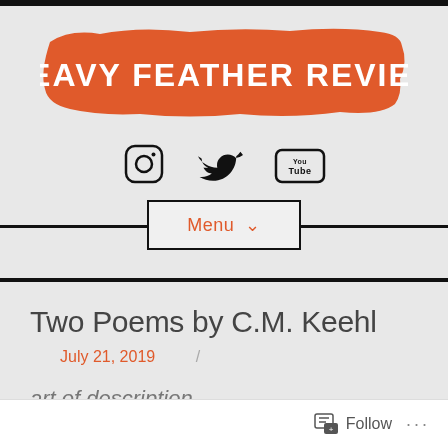[Figure (logo): Heavy Feather Review logo: bold white text on orange brush-stroke background]
[Figure (infographic): Social media icons: Instagram, Twitter, YouTube]
[Figure (infographic): Menu navigation button with chevron, flanked by thick horizontal lines]
Two Poems by C.M. Keehl
July 21, 2019 /
art of description
Follow ...